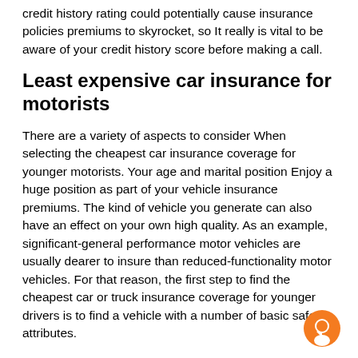credit history rating could potentially cause insurance policies premiums to skyrocket, so It really is vital to be aware of your credit history score before making a call.
Least expensive car insurance for motorists
There are a variety of aspects to consider When selecting the cheapest car insurance coverage for younger motorists. Your age and marital position Enjoy a huge position as part of your vehicle insurance premiums. The kind of vehicle you generate can also have an effect on your own high quality. As an example, significant-general performance motor vehicles are usually dearer to insure than reduced-functionality motor vehicles. For that reason, the first step to find the cheapest car or truck insurance coverage for younger drivers is to find a vehicle with a number of basic safety attributes.